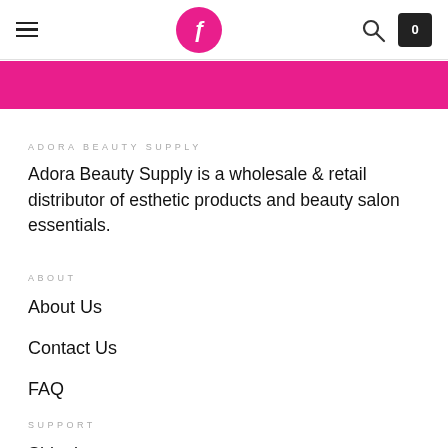Navigation header with hamburger menu, logo, search icon, and cart (0)
[Figure (other): Pink horizontal banner bar]
ADORA BEAUTY SUPPLY
Adora Beauty Supply is a wholesale & retail distributor of esthetic products and beauty salon essentials.
ABOUT
About Us
Contact Us
FAQ
SUPPORT
Shipping